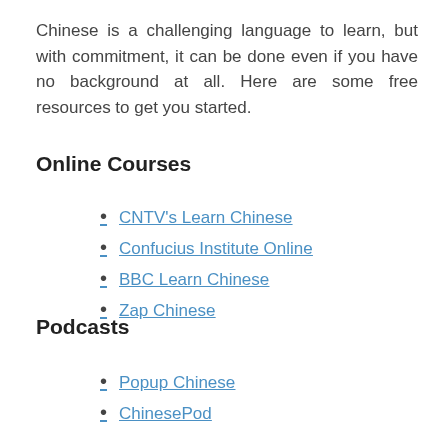Chinese is a challenging language to learn, but with commitment, it can be done even if you have no background at all. Here are some free resources to get you started.
Online Courses
CNTV's Learn Chinese
Confucius Institute Online
BBC Learn Chinese
Zap Chinese
Podcasts
Popup Chinese
ChinesePod